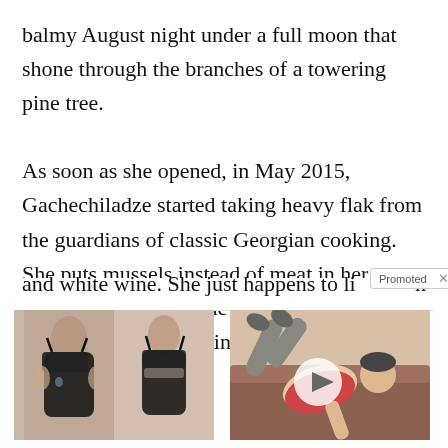balmy August night under a full moon that shone through the branches of a towering pine tree.

As soon as she opened, in May 2015, Gachechiladze started taking heavy flak from the guardians of classic Georgian cooking. She puts mussels instead of meat in her chakapuli, a stew made with sour plums, tarragon, and white wine. She just happens to li[Promoted ×]n
[Figure (photo): Advertisement photo showing two women from behind in black swimwear/sports bra, before-and-after weight loss comparison]
How To Lose 40.5 Lbs In A Month (Eat This Once Every Day)
18,214
[Figure (photo): Advertisement illustration/animation showing a person doing exercises, with a play button overlay]
How To Reduce Enlarged Prostates Without Surgery Do This Daily
2,402